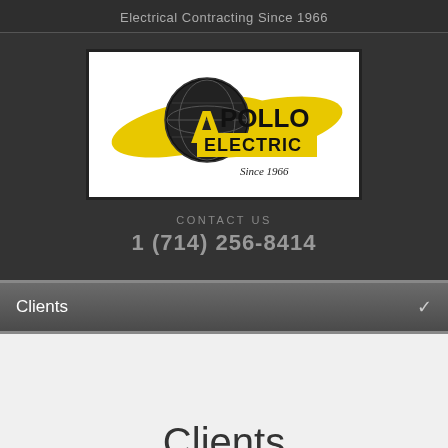Electrical Contracting Since 1966
[Figure (logo): Apollo Electric logo with globe and yellow swoosh, text reads 'Apollo Electric Since 1966']
CONTACT US
1 (714) 256-8414
Clients
Clients
Apollo Clients